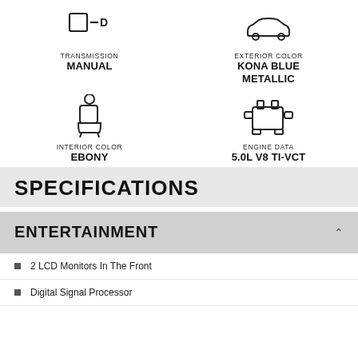[Figure (illustration): Transmission icon (manual shift symbol with square and D label)]
TRANSMISSION
MANUAL
[Figure (illustration): Exterior color icon (car silhouette outline)]
EXTERIOR COLOR
KONA BLUE METALLIC
[Figure (illustration): Interior color icon (car seat outline)]
INTERIOR COLOR
EBONY
[Figure (illustration): Engine data icon (engine block outline)]
ENGINE DATA
5.0L V8 TI-VCT
SPECIFICATIONS
ENTERTAINMENT
2 LCD Monitors In The Front
Digital Signal Processor